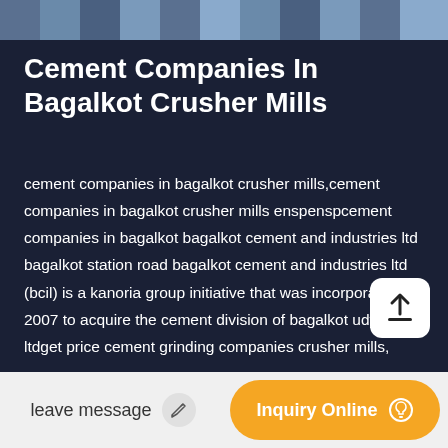[Figure (photo): Horizontal photo strip showing industrial/construction scene at the top of the page]
Cement Companies In Bagalkot Crusher Mills
cement companies in bagalkot crusher mills,cement companies in bagalkot crusher mills enspenspcement companies in bagalkot bagalkot cement and industries ltd bagalkot station road bagalkot cement and industries ltd (bcil) is a kanoria group initiative that was incorporated in 2007 to acquire the cement division of bagalkot udyog ltdget price cement grinding companies crusher mills, cone.cement companies in bagalkot crusher mills,cement crusher companies. cement companies in bagalkot crusher mills customer review bagalkot cement and industries ltd bagalkot station road bagalkot cement and industries ltd bcil is a